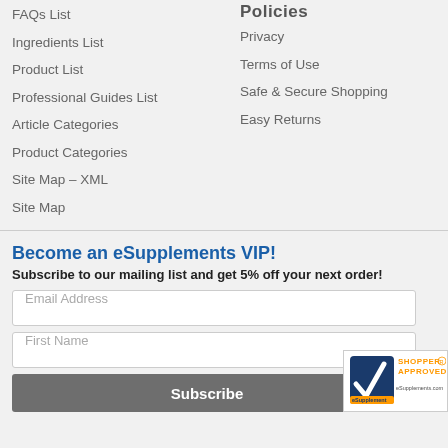Policies
FAQs List
Ingredients List
Product List
Professional Guides List
Article Categories
Product Categories
Site Map – XML
Site Map
Privacy
Terms of Use
Safe & Secure Shopping
Easy Returns
Become an eSupplements VIP!
Subscribe to our mailing list and get 5% off your next order!
Email Address
First Name
Subscribe
[Figure (logo): Shopper Approved badge with checkmark logo and text 'eSupplements.com']